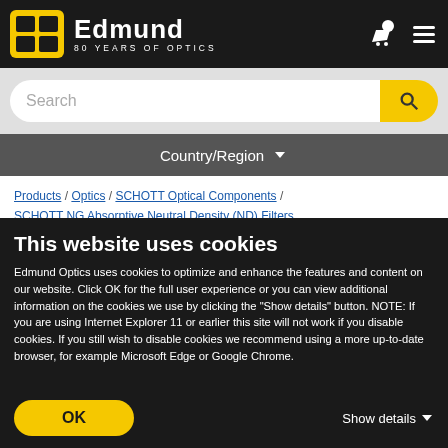Edmund Optics – 80 Years of Optics
Search
Country/Region
Products / Optics / SCHOTT Optical Components / SCHOTT NG Absorptive Neutral Density (ND) Filters
« See all 66 Products in Family
This website uses cookies
Edmund Optics uses cookies to optimize and enhance the features and content on our website. Click OK for the full user experience or you can view additional information on the cookies we use by clicking the "Show details" button. NOTE: If you are using Internet Explorer 11 or earlier this site will not work if you disable cookies. If you still wish to disable cookies we recommend using a more up-to-date browser, for example Microsoft Edge or Google Chrome.
OK
Show details